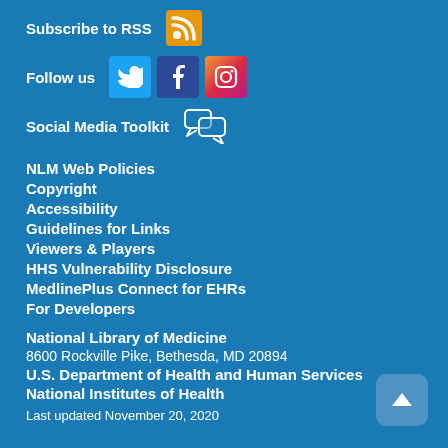Subscribe to RSS
[Figure (logo): RSS feed orange icon]
Follow us
[Figure (logo): Twitter, Facebook, Instagram social media icons]
Social Media Toolkit
[Figure (logo): Social media toolkit speech bubbles icon]
NLM Web Policies
Copyright
Accessibility
Guidelines for Links
Viewers & Players
HHS Vulnerability Disclosure
MedlinePlus Connect for EHRs
For Developers
National Library of Medicine
8600 Rockville Pike, Bethesda, MD 20894
U.S. Department of Health and Human Services
National Institutes of Health
Last updated November 20, 2020